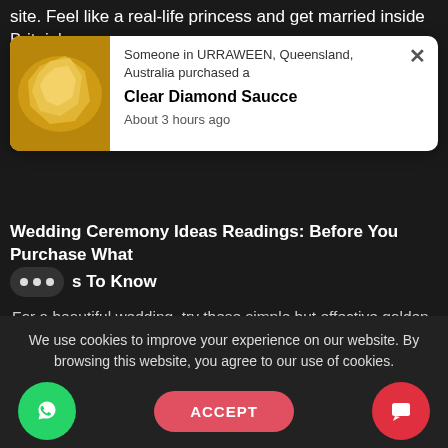site. Feel like a real-life princess and get married inside Britain's
[Figure (screenshot): Pop-up notification showing a product purchase. Contains a golden/yellow crystalline product image on the left. Text reads: 'Someone in URRAWEEN, Queensland, Australia purchased a Clear Diamond Saucce About 3 hours ago'. Has an X close button.]
Wedding Ceremony Ideas Readings: Before You Purchase What Things To Know
For a beautiful wedding, try these simple but effective golden balloon tails. Create hanging garlands from silver and golden foil attached to balloon strings for lovely festive garlands. For a bright touch, you could buy gold-painted or confetti-filled balloons. Get crafty by creating your own sign welcoming your guests to your bridal party. Display your DIY sign on a wooden easel to complete
We use cookies to improve your experience on our website. By browsing this website, you agree to our use of cookies.